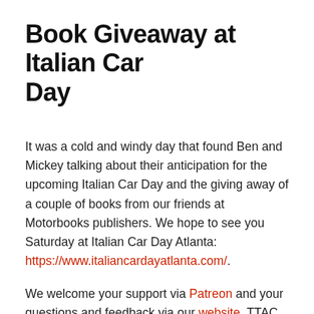Book Giveaway at Italian Car Day
It was a cold and windy day that found Ben and Mickey talking about their anticipation for the upcoming Italian Car Day and the giving away of a couple of books from our friends at Motorbooks publishers. We hope to see you Saturday at Italian Car Day Atlanta: https://www.italiancardayatlanta.com/.
We welcome your support via Patreon and your questions and feedback via our website. TTAC records at Strongbox West, in Atlanta.